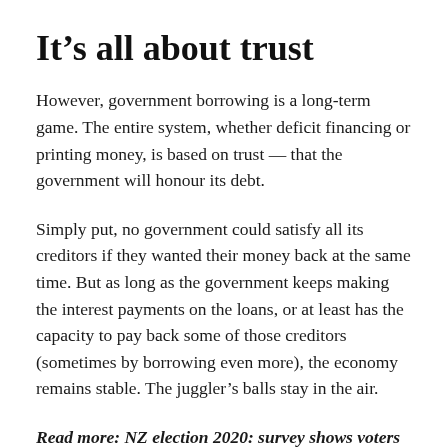It’s all about trust
However, government borrowing is a long-term game. The entire system, whether deficit financing or printing money, is based on trust — that the government will honour its debt.
Simply put, no government could satisfy all its creditors if they wanted their money back at the same time. But as long as the government keeps making the interest payments on the loans, or at least has the capacity to pay back some of those creditors (sometimes by borrowing even more), the economy remains stable. The juggler’s balls stay in the air.
Read more: NZ election 2020: survey shows voters are divided on climate policy and urgency of action[13]